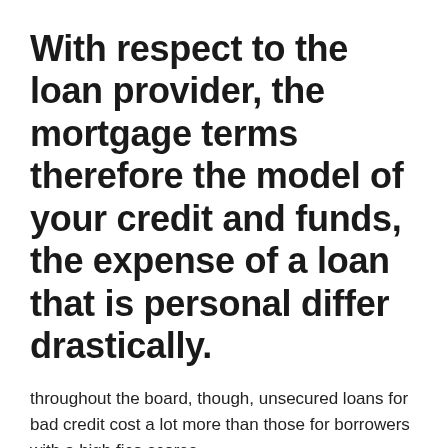With respect to the loan provider, the mortgage terms therefore the model of your credit and funds, the expense of a loan that is personal differ drastically.
throughout the board, though, unsecured loans for bad credit cost a lot more than those for borrowers with a high fico scores.
The present interest that is average for 24-month unsecured loans is 9.50%, though for borrowers with bad credit, it may be far greater, based on the Federal Reserve. This really is a little lower than the credit that is average rate of interest, which currently hovers between 14% and